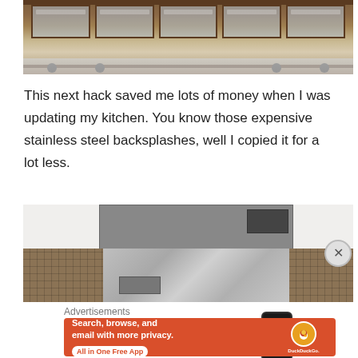[Figure (photo): A wooden media cabinet with glass doors on casters/wheels, sitting on a light-colored rug on hardwood floor]
This next hack saved me lots of money when I was updating my kitchen. You know those expensive stainless steel backsplashes, well I copied it for a lot less.
[Figure (photo): A kitchen showing a stainless steel microwave/range hood mounted under white cabinets, with a stainless steel backsplash and mosaic tile backsplash on the sides]
Advertisements
[Figure (other): DuckDuckGo advertisement banner: Search, browse, and email with more privacy. All in One Free App. Shows DuckDuckGo logo and phone mockup.]